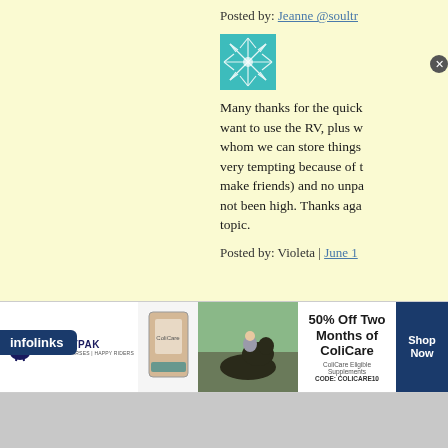Posted by: Jeanne @soult...
[Figure (illustration): Teal/turquoise decorative avatar image with snowflake-like pattern]
Many thanks for the quick... want to use the RV, plus w... whom we can store things... very tempting because of t... make friends) and no unpa... not been high. Thanks aga... topic.
Posted by: Violeta | June 1...
[Figure (infographic): SmartPak advertisement banner: 50% Off Two Months of ColiCare, ColiCare Eligible Supplements, CODE: COLICARE10, Shop Now button]